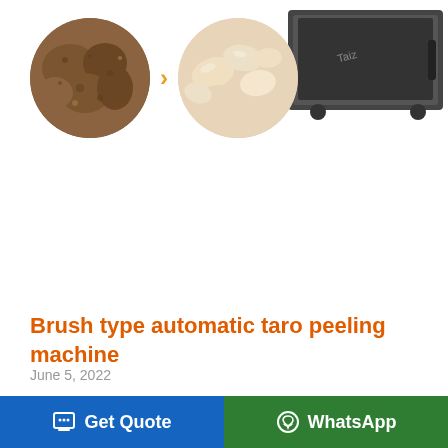[Figure (photo): Two circular images showing taro root before peeling (brown rough exterior) and after peeling (smooth pale peeled taro pieces), with an orange arrow between them. Top right shows partial view of a machine.]
Brush type automatic taro peeling machine
June 5, 2022
Automatic taro peeling machine is used for cleaning and